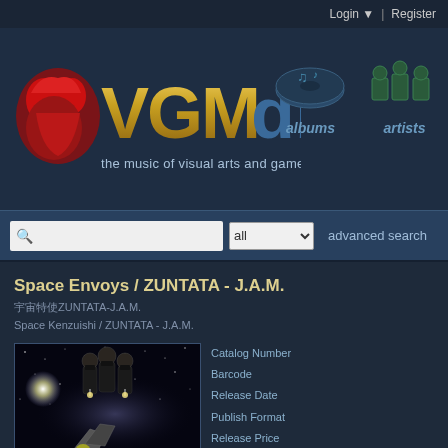Login | Register
[Figure (logo): VGMdb logo - the music of visual arts and games, with red character icon]
[Figure (illustration): Albums icon - disc with musical notes]
[Figure (illustration): Artists icon - three figures]
advanced search
Space Envoys / ZUNTATA - J.A.M.
宇宙特使ZUNTATA-J.A.M.
Space Kenzuishi / ZUNTATA - J.A.M.
[Figure (photo): Album cover art showing three suited figures floating in space with a spaceship and colorful streaks]
Catalog Number
Barcode
Release Date
Publish Format
Release Price
Media Format

Classification

Label